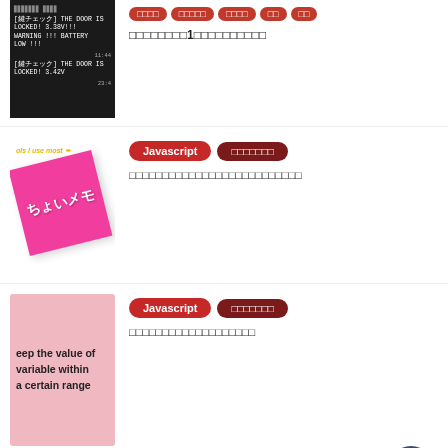[Figure (screenshot): Dark background with Japanese text messages showing door lock notifications]
□□□□□□□□1□□□□□□□□□□
[Figure (photo): Pink sticky note with Japanese text ちょいメモ and italic label]
Javascript
□□□□□□□
□□□□□□□□□□□□□□□□□□□□□□□□□□
[Figure (screenshot): Pink background with white text: eep the value of variable within a certain range]
Javascript
□□□□□□□
□□□□□□□□□□□□□□□□□□□
[Figure (photo): Partial thumbnail at bottom, light blue color]